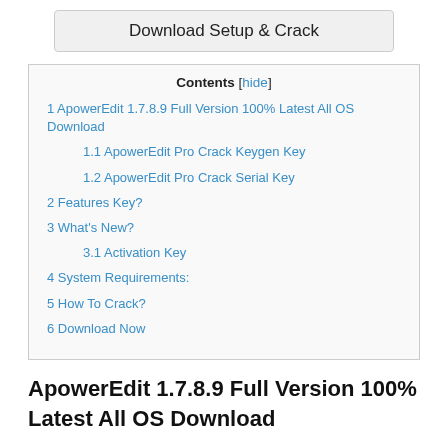[Figure (screenshot): Download Setup & Crack button in a gray rounded rectangle]
| Contents [hide] |
| --- |
| 1 ApowerEdit 1.7.8.9 Full Version 100% Latest All OS Download |
| 1.1 ApowerEdit Pro Crack Keygen Key |
| 1.2 ApowerEdit Pro Crack Serial Key |
| 2 Features Key? |
| 3 What's New? |
| 3.1 Activation Key |
| 4 System Requirements: |
| 5 How To Crack? |
| 6 Download Now |
ApowerEdit 1.7.8.9 Full Version 100% Latest All OS Download